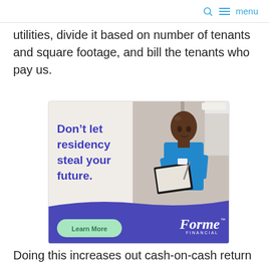menu
utilities, divide it based on number of tenants and square footage, and bill the tenants who pay us.
[Figure (illustration): Advertisement for Forme Financial showing a medical resident in blue scrubs writing on a clipboard. Text reads 'Don't let residency steal your future.' with a 'Learn More' button and the Forme Financial logo on a purple banner at the bottom.]
Doing this increases out cash-on-cash return